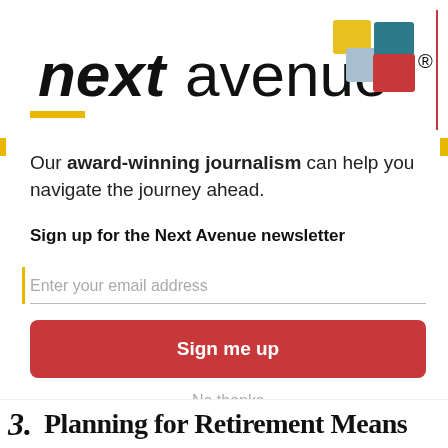[Figure (logo): Next Avenue logo with bold italic 'next' followed by regular 'avenue' and registered trademark symbol, with colorful squares (yellow, light blue, red, teal) to the right]
Our award-winning journalism can help you navigate the journey ahead.
Sign up for the Next Avenue newsletter
Enter your email address
Sign me up
No thanks
3. Planning for Retirement Means